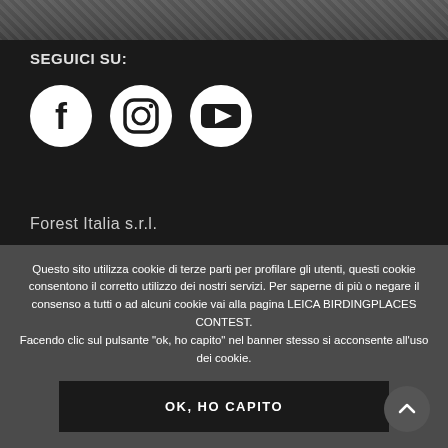[Figure (photo): Dark textured animal fur image at the top of the page]
SEGUICI SU:
[Figure (illustration): Three social media icons: Facebook (circle with f), Instagram (camera icon), YouTube (play button rectangle)]
Forest Italia s.r.l.
Questo sito utilizza cookie di terze parti per profilare gli utenti, questi cookie consentono il corretto utilizzo dei nostri servizi. Per saperne di più o negare il consenso a tutti o ad alcuni cookie vai alla pagina LEICA BIRDINGPLACES CONTEST.
Facendo clic sul pulsante "ok, ho capito" nel banner stesso si acconsente all'uso dei cookie.
OK, HO CAPITO